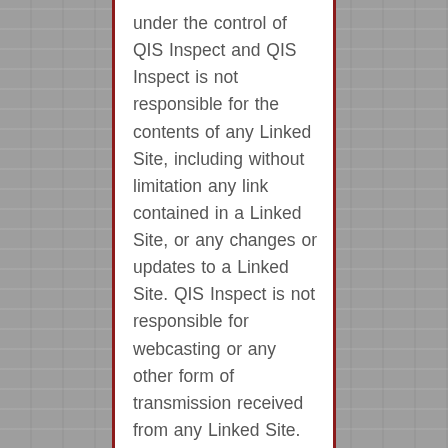under the control of QIS Inspect and QIS Inspect is not responsible for the contents of any Linked Site, including without limitation any link contained in a Linked Site, or any changes or updates to a Linked Site. QIS Inspect is not responsible for webcasting or any other form of transmission received from any Linked Site. QIS Inspect is providing these links to